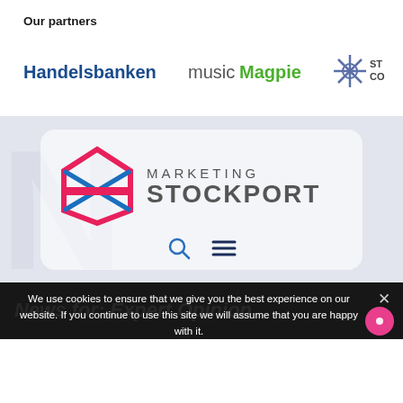Our partners
[Figure (logo): Handelsbanken logo text in dark blue bold]
[Figure (logo): musicMagpie logo - 'music' in grey, 'Magpie' in green bold]
[Figure (logo): Star-shaped logo partially visible on right edge]
[Figure (logo): Marketing Stockport logo with geometric envelope icon in pink and blue]
News for: Expert Opinion
We use cookies to ensure that we give you the best experience on our website. If you continue to use this site we will assume that you are happy with it.
Ok   Read more